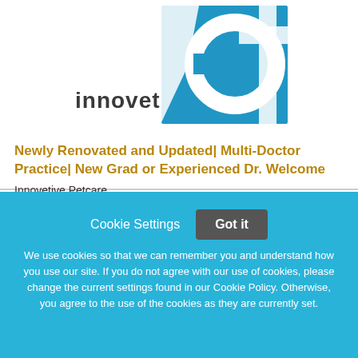[Figure (logo): Innovetive Petcare logo: text 'innovetive' in dark gray with a blue square containing white stylized 'vet' letters]
Newly Renovated and Updated| Multi-Doctor Practice| New Grad or Experienced Dr. Welcome
Innovetive Petcare
Cookie Settings  Got it
We use cookies so that we can remember you and understand how you use our site. If you do not agree with our use of cookies, please change the current settings found in our Cookie Policy. Otherwise, you agree to the use of the cookies as they are currently set.